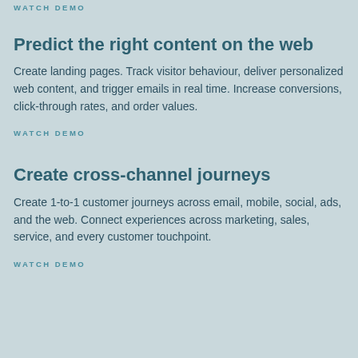WATCH DEMO
Predict the right content on the web
Create landing pages. Track visitor behaviour, deliver personalized web content, and trigger emails in real time. Increase conversions, click-through rates, and order values.
WATCH DEMO
Create cross-channel journeys
Create 1-to-1 customer journeys across email, mobile, social, ads, and the web. Connect experiences across marketing, sales, service, and every customer touchpoint.
WATCH DEMO